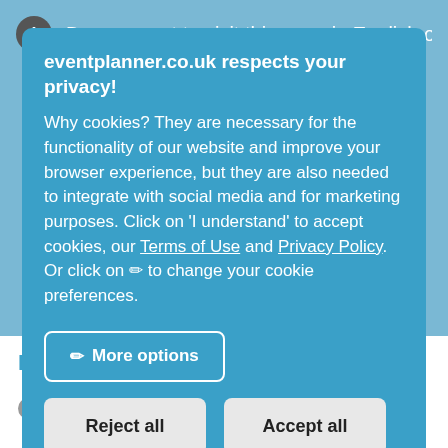Do you want to visit this page in English on our
eventplanner.co.uk respects your privacy!
Why cookies? They are necessary for the functionality of our website and improve your browser experience, but they are also needed to integrate with social media and for marketing purposes. Click on 'I understand' to accept cookies, our Terms of Use and Privacy Policy. Or click on ✏ to change your cookie preferences.
More options
Reject all
Accept all
Hof Van Coolhem
Write review
Puurs-Sint-Amands (Kalfort) (4.9 km)